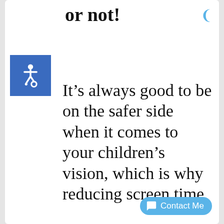prescription or not!
[Figure (illustration): Blue accessibility icon with wheelchair symbol]
It's always good to be on the safer side when it comes to your children's vision, which is why reducing screen time is so important. In any case, get your kid(s) checked regularly for any other eye issues (like myopia which is quite comm... on here). Using t...